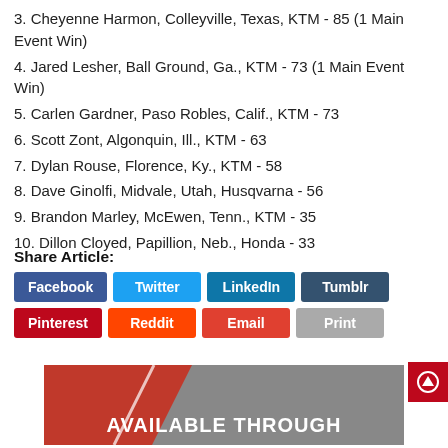3. Cheyenne Harmon, Colleyville, Texas, KTM - 85 (1 Main Event Win)
4. Jared Lesher, Ball Ground, Ga., KTM - 73 (1 Main Event Win)
5. Carlen Gardner, Paso Robles, Calif., KTM - 73
6. Scott Zont, Algonquin, Ill., KTM - 63
7. Dylan Rouse, Florence, Ky., KTM - 58
8. Dave Ginolfi, Midvale, Utah, Husqvarna - 56
9. Brandon Marley, McEwen, Tenn., KTM - 35
10. Dillon Cloyed, Papillion, Neb., Honda - 33
Share Article:
[Figure (other): Social share buttons: Facebook, Twitter, LinkedIn, Tumblr, Pinterest, Reddit, Email, Print]
[Figure (other): Promotional banner with text AVAILABLE THROUGH on red and grey background]